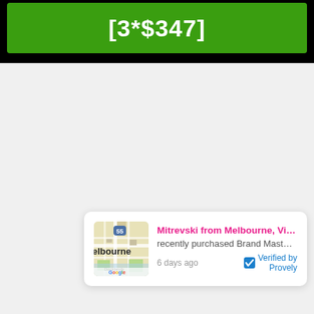[3*$347]
[Figure (other): Notification card with Google Maps thumbnail showing Melbourne Docklands area, with text: Mitrevski from Melbourne, Vic... recently purchased Brand Master... 6 days ago. Verified by Provely.]